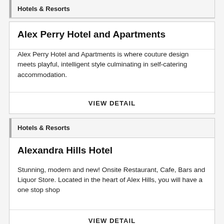Hotels & Resorts
Alex Perry Hotel and Apartments
Alex Perry Hotel and Apartments is where couture design meets playful, intelligent style culminating in self-catering accommodation.
VIEW DETAIL
Hotels & Resorts
Alexandra Hills Hotel
Stunning, modern and new! Onsite Restaurant, Cafe, Bars and Liquor Store. Located in the heart of Alex Hills, you will have a one stop shop
VIEW DETAIL
Hotels & Resorts